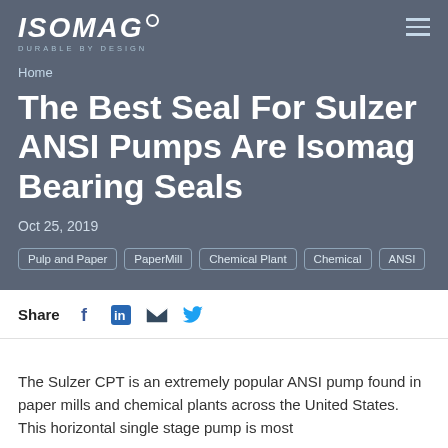ISOMAG DURABLE BY DESIGN
Home
The Best Seal For Sulzer ANSI Pumps Are Isomag Bearing Seals
Oct 25, 2019
Pulp and Paper
PaperMill
Chemical Plant
Chemical
ANSI
Share
The Sulzer CPT is an extremely popular ANSI pump found in paper mills and chemical plants across the United States. This horizontal single stage pump is most